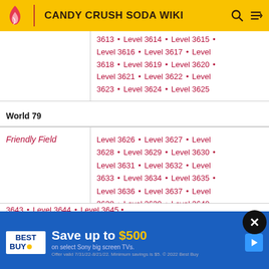CANDY CRUSH SODA WIKI
| Place | Levels |
| --- | --- |
| (continuation) | Level 3613 • Level 3614 • Level 3615 • Level 3616 • Level 3617 • Level 3618 • Level 3619 • Level 3620 • Level 3621 • Level 3622 • Level 3623 • Level 3624 • Level 3625 |
| World 79 |  |
| Friendly Field | Level 3626 • Level 3627 • Level 3628 • Level 3629 • Level 3630 • Level 3631 • Level 3632 • Level 3633 • Level 3634 • Level 3635 • Level 3636 • Level 3637 • Level 3638 • Level 3639 • Level 3640 |
| Glowing Garden | Level 3641 • Level 3642 • Level 3643 • Level 3644 • Level 3645 • ... |
|  | Level 3651 • Level 3652 • Level ... |
[Figure (other): Best Buy advertisement banner: Save up to $500 on select Sony big screen TVs. Offer valid 7/31/22-8/21/22. Minimum savings is $5. © 2022 Best Buy]